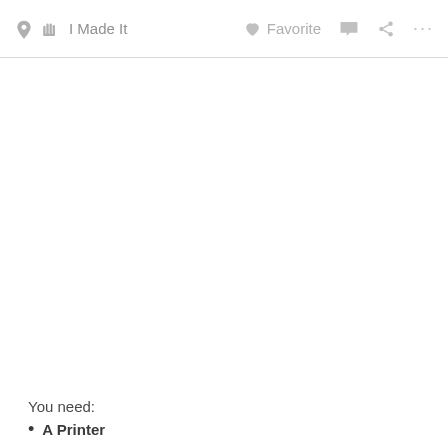🖐 I Made It   ♡ Favorite   💬   ⬆   ···
You need:
A Printer